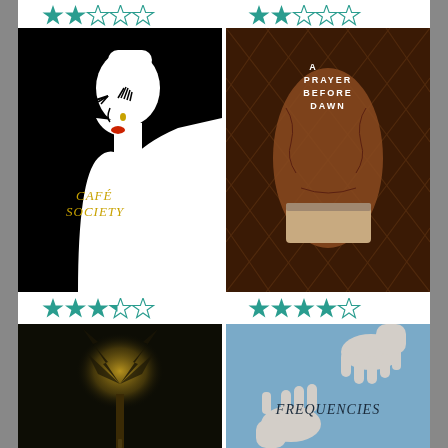[Figure (illustration): Star rating row top-left: 2 out of 5 stars (teal filled)]
[Figure (illustration): Star rating row top-right: 2 out of 5 stars (teal filled)]
[Figure (photo): Movie poster: Cafe Society - black background with stylized white silhouette of woman's face with red lips and gold teardrop]
[Figure (photo): Movie poster: A Prayer Before Dawn - tattooed torso behind chain-link fence]
[Figure (illustration): Star rating row mid-left: 3.5 out of 5 stars (teal filled)]
[Figure (illustration): Star rating row mid-right: 4 out of 5 stars (teal filled)]
[Figure (photo): Movie poster: dark forest with glowing tree and silhouette figure]
[Figure (photo): Movie poster: Frequencies - blue background with two hands reaching toward each other]